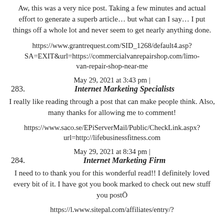Aw, this was a very nice post. Taking a few minutes and actual effort to generate a superb article… but what can I say… I put things off a whole lot and never seem to get nearly anything done.
https://www.grantrequest.com/SID_1268/default4.asp?SA=EXIT&url=https://commercialvanrepairshop.com/limo-van-repair-shop-near-me
May 29, 2021 at 3:43 pm |
283. Internet Marketing Specialists
I really like reading through a post that can make people think. Also, many thanks for allowing me to comment!
https://www.saco.se/EPiServerMail/Public/CheckLink.aspx?url=http://lifebusinessfitness.com
May 29, 2021 at 8:34 pm |
284. Internet Marketing Firm
I need to to thank you for this wonderful read!! I definitely loved every bit of it. I have got you book marked to check out new stuff you postÖ
https://l.www.sitepal.com/affiliates/entry/?